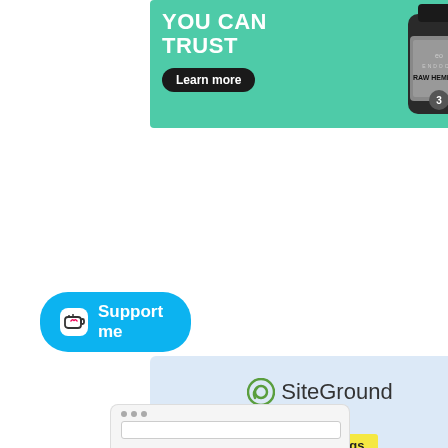[Figure (illustration): Endoca Raw Hemp Oil product advertisement banner with teal/mint background, white bold text 'YOU CAN TRUST', a black 'Learn more' button, and a hemp oil bottle on the right]
[Figure (illustration): SiteGround hosting advertisement with light blue background, SiteGround logo, yellow 'Fresh Savings' badge, and large bold text '80% Off Hosting & Free Transfer']
[Figure (illustration): Circular scroll-to-top button with upward arrow]
[Figure (illustration): Cyan 'Support me' button with coffee cup icon]